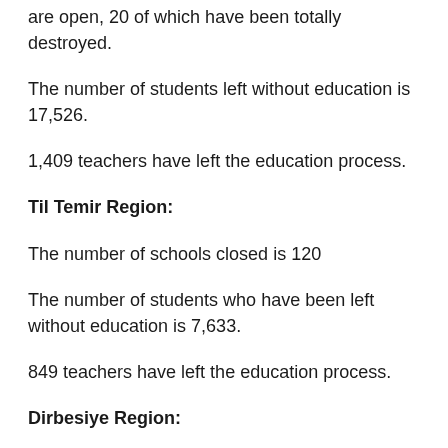are open, 20 of which have been totally destroyed.
The number of students left without education is 17,526.
1,409 teachers have left the education process.
Til Temir Region:
The number of schools closed is 120
The number of students who have been left without education is 7,633.
849 teachers have left the education process.
Dirbesiye Region:
The total number of schools closed is 114.